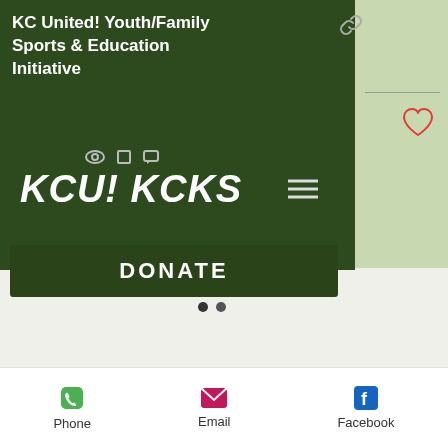KC United! Youth/Family Sports & Education Initiative
[Figure (logo): KCU! KCKS logo text in white bold italic on dark green background]
DONATE
[Figure (photo): Soccer player in green jersey, green tinted background photo]
Phone
Email
Facebook